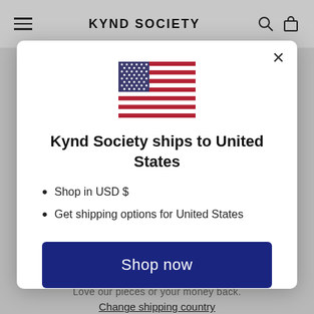KYND SOCIETY
[Figure (screenshot): US flag emoji / SVG illustration]
Kynd Society ships to United States
Shop in USD $
Get shipping options for United States
Shop now
Change shipping country
Love our pieces or your money back.